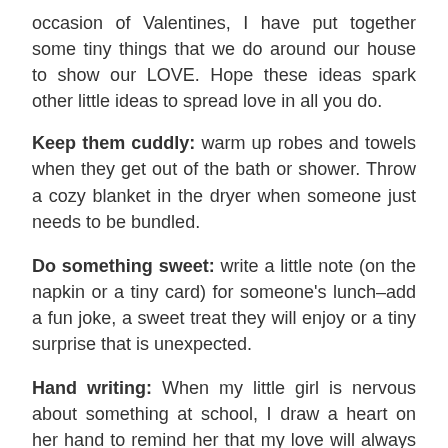occasion of Valentines, I have put together some tiny things that we do around our house to show our LOVE. Hope these ideas spark other little ideas to spread love in all you do.
Keep them cuddly: warm up robes and towels when they get out of the bath or shower. Throw a cozy blanket in the dryer when someone just needs to be bundled.
Do something sweet: write a little note (on the napkin or a tiny card) for someone's lunch–add a fun joke, a sweet treat they will enjoy or a tiny surprise that is unexpected.
Hand writing: When my little girl is nervous about something at school, I draw a heart on her hand to remind her that my love will always be with her.
Hearts & flowers: We are big Dasani bottle drinkers (don't